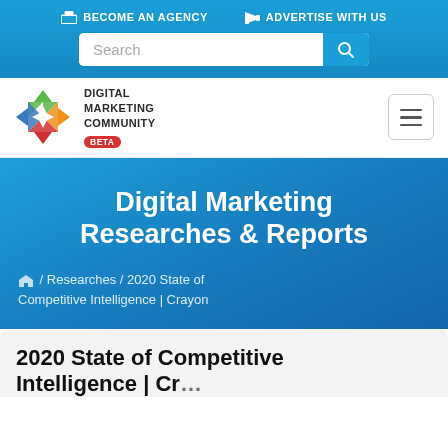BECOME AN AGENCY   ADVERTISE WITH US
[Figure (screenshot): Digital Marketing Community website header with logo, BETA badge, search bar, navigation links, and hero section]
Digital Marketing Researches & Reports
Home / Researches / 2020 State of Competitive Intelligence | Crayon
2020 State of Competitive Intelligence | Crayon